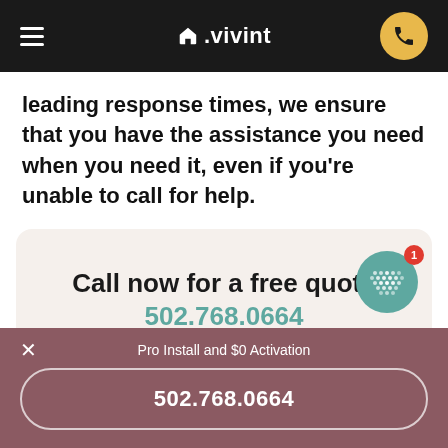Vivint navigation header with hamburger menu, Vivint logo, and phone button
leading response times, we ensure that you have the assistance you need when you need it, even if you're unable to call for help.
Call now for a free quote 502.768.0664
Pro Install and $0 Activation
502.768.0664